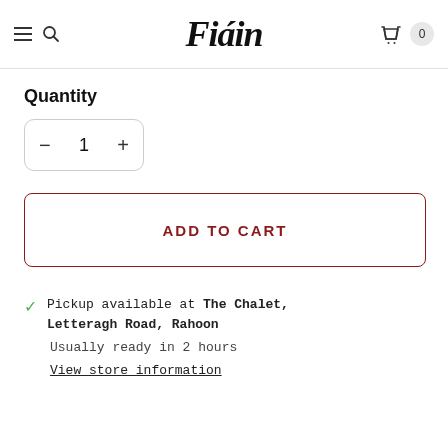Fiáin
Quantity
− 1 +
ADD TO CART
Pickup available at The Chalet, Letteragh Road, Rahoon
Usually ready in 2 hours
View store information